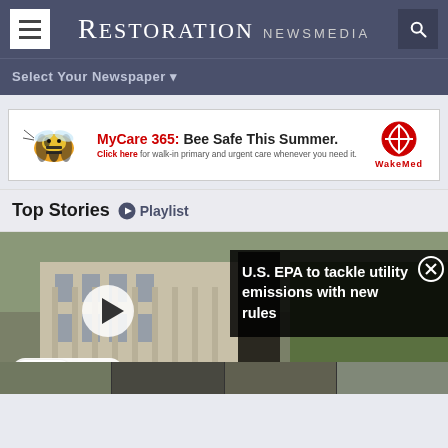RESTORATION NEWSMEDIA
Select Your Newspaper ▾
[Figure (infographic): MyCare 365: Bee Safe This Summer. Click here for walk-in primary and urgent care whenever you need it. WakeMed advertisement with bee image and WakeMed logo.]
Top Stories  Playlist
[Figure (screenshot): Video player showing a government building with play button overlay. Overlay panel shows news headline: 'U.S. EPA to tackle utility emissions with new rules' with a close button. Bottom left shows Light/Dark theme toggle. Bottom strip shows thumbnail images.]